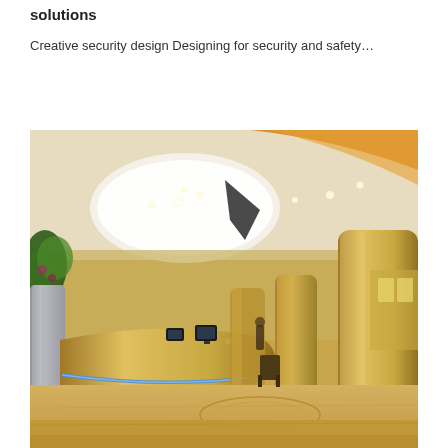solutions
Creative security design Designing for security and safety…
[Figure (photo): Luxurious hotel lobby interior with golden cylindrical columns, curved reception desk with blue LED lighting, ornate ceiling with recessed lighting, marble floors with decorative circular pattern, and tropical plants. Warm golden and cream tones throughout.]